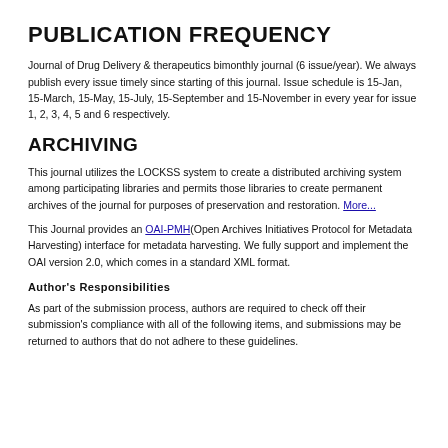PUBLICATION FREQUENCY
Journal of Drug Delivery & therapeutics bimonthly journal (6 issue/year). We always publish every issue timely since starting of this journal. Issue schedule is 15-Jan, 15-March, 15-May, 15-July, 15-September and 15-November in every year for issue 1, 2, 3, 4, 5 and 6 respectively.
ARCHIVING
This journal utilizes the LOCKSS system to create a distributed archiving system among participating libraries and permits those libraries to create permanent archives of the journal for purposes of preservation and restoration. More...
This Journal provides an OAI-PMH(Open Archives Initiatives Protocol for Metadata Harvesting) interface for metadata harvesting. We fully support and implement the OAI version 2.0, which comes in a standard XML format.
Author's Responsibilities
As part of the submission process, authors are required to check off their submission's compliance with all of the following items, and submissions may be returned to authors that do not adhere to these guidelines.